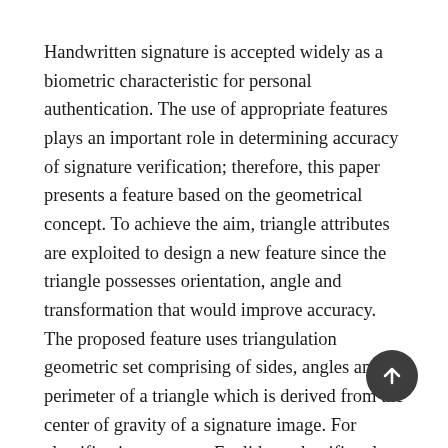Handwritten signature is accepted widely as a biometric characteristic for personal authentication. The use of appropriate features plays an important role in determining accuracy of signature verification; therefore, this paper presents a feature based on the geometrical concept. To achieve the aim, triangle attributes are exploited to design a new feature since the triangle possesses orientation, angle and transformation that would improve accuracy. The proposed feature uses triangulation geometric set comprising of sides, angles and perimeter of a triangle which is derived from the center of gravity of a signature image. For classification purpose, Euclidean classifier along with Voting-based classifier is used to verify the tendency of forgery signature. This classification process is experimented using triangular geometric feature and selected global features. Based